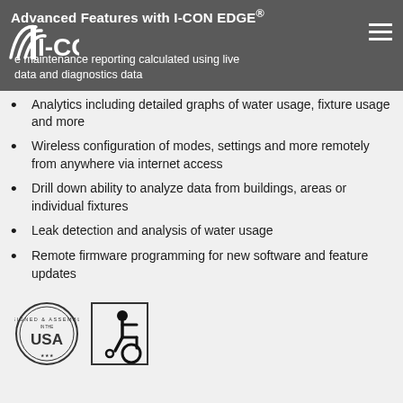Advanced Features with I-CON EDGE®
e maintenance reporting calculated using live data and diagnostics data
Analytics including detailed graphs of water usage, fixture usage and more
Wireless configuration of modes, settings and more remotely from anywhere via internet access
Drill down ability to analyze data from buildings, areas or individual fixtures
Leak detection and analysis of water usage
Remote firmware programming for new software and feature updates
[Figure (logo): Designed & Assembled in the USA circular badge logo]
[Figure (logo): ADA wheelchair accessibility symbol in rectangular border]